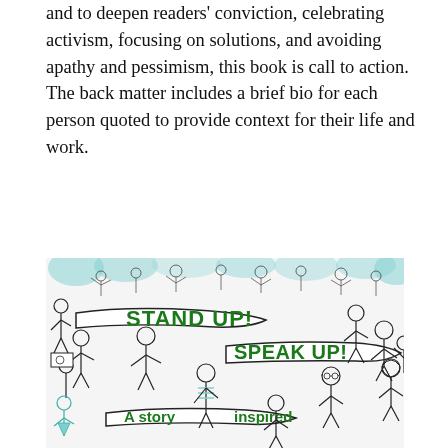and to deepen readers' conviction, celebrating activism, focusing on solutions, and avoiding apathy and pessimism, this book is call to action. The back matter includes a brief bio for each person quoted to provide context for their life and work.
[Figure (illustration): Book cover illustration showing a diverse crowd of children and people holding banners that read 'STAND UP!', 'SPEAK UP!', and 'A story inspired' in green text on white banners, drawn in black and white line art style with green accent colors.]